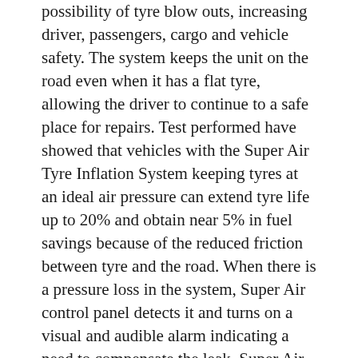possibility of tyre blow outs, increasing driver, passengers, cargo and vehicle safety. The system keeps the unit on the road even when it has a flat tyre, allowing the driver to continue to a safe place for repairs. Test performed have showed that vehicles with the Super Air Tyre Inflation System keeping tyres at an ideal air pressure can extend tyre life up to 20% and obtain near 5% in fuel savings because of the reduced friction between tyre and the road. When there is a pressure loss in the system, Super Air control panel detects it and turns on a visual and audible alarm indicating a need to compensate the leak. Super Air takes compressed air from the tank of the vehicle. Air passes through the control panel in which the maximum air pressure has been previously adjusted by a technician………… SAVINGS !!!!! Properly inflated tires use less fuel, wear longer, provide greater stability & handling and bring savings. With